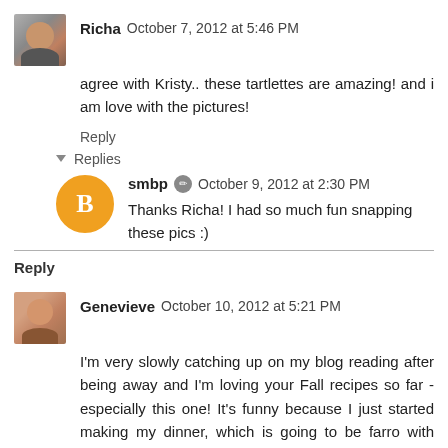Richa  October 7, 2012 at 5:46 PM
agree with Kristy.. these tartlettes are amazing! and i am love with the pictures!
Reply
Replies
smbp  October 9, 2012 at 2:30 PM
Thanks Richa! I had so much fun snapping these pics :)
Reply
Genevieve  October 10, 2012 at 5:21 PM
I'm very slowly catching up on my blog reading after being away and I'm loving your Fall recipes so far - especially this one! It's funny because I just started making my dinner, which is going to be farro with squash mixed in, and now I